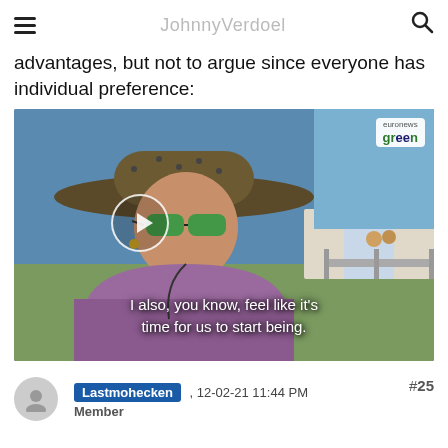JohnnyVerdoel / [site navigation header with hamburger menu and search icon]
advantages, but not to argue since everyone has individual preference:
[Figure (screenshot): Video thumbnail showing a woman wearing a wide-brimmed hat and sunglasses at an outdoor festival, with a play button overlay. Subtitle reads: 'I also, you know, feel like it's time for us to start being.' Euronews Green logo in top right corner.]
#25
Lastmohecken , 12-02-21 11:44 PM
Member